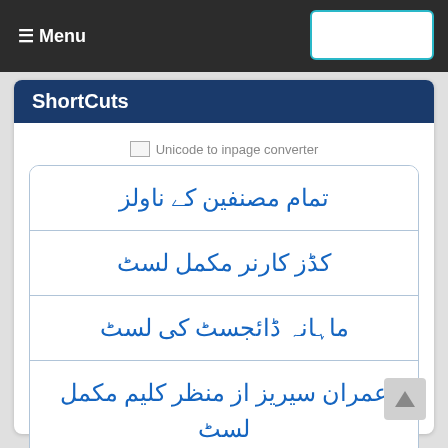≡ Menu
ShortCuts
[Figure (other): Unicode to inpage converter image placeholder]
تمام مصنفین کے ناولز
کڈز کارنر مکمل لسٹ
ماہانہ ڈائجسٹ کی لسٹ
عمران سیریز از منظر کلیم مکمل لسٹ
دیوتا از محی الدین نواب